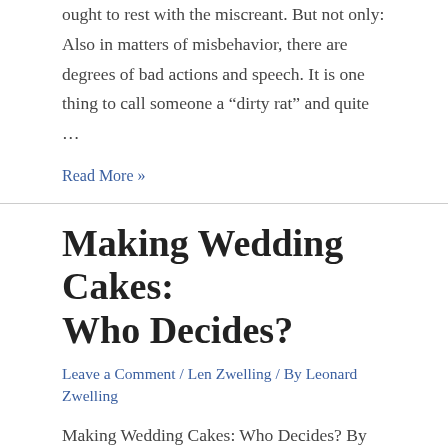ought to rest with the miscreant. But not only: Also in matters of misbehavior, there are degrees of bad actions and speech. It is one thing to call someone a “dirty rat” and quite …
Read More »
Making Wedding Cakes: Who Decides?
Leave a Comment / Len Zwelling / By Leonard Zwelling
Making Wedding Cakes: Who Decides? By Leonard Zwelling
http://www.cnn.com/2017/12/05/politics/supreme-court-